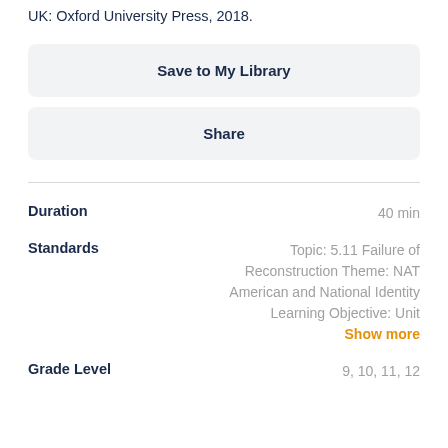UK: Oxford University Press, 2018.
Save to My Library
Share
Duration	40 min
Standards	Topic: 5.11 Failure of Reconstruction Theme: NAT American and National Identity Learning Objective: Unit Show more
Grade Level	9, 10, 11, 12